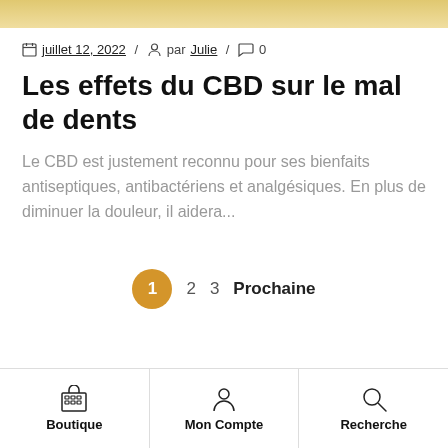[Figure (photo): Top strip of a food/CBD product image cropped at the top of the page]
juillet 12, 2022 / par Julie / 0
Les effets du CBD sur le mal de dents
Le CBD est justement reconnu pour ses bienfaits antiseptiques, antibactériens et analgésiques. En plus de diminuer la douleur, il aidera...
1 2 3 Prochaine
Boutique | Mon Compte | Recherche